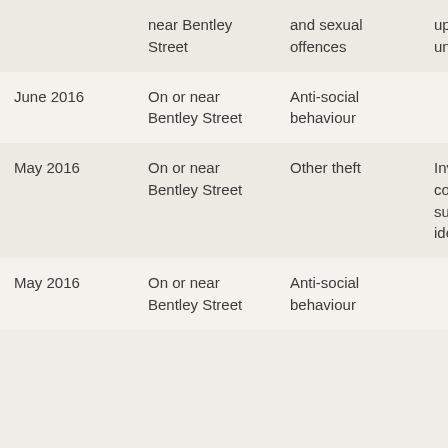|  | near Bentley Street | and sexual offences | update unavailable |
| June 2016 | On or near Bentley Street | Anti-social behaviour |  |
| May 2016 | On or near Bentley Street | Other theft | Investigation complete; no suspect identified |
| May 2016 | On or near Bentley Street | Anti-social behaviour |  |